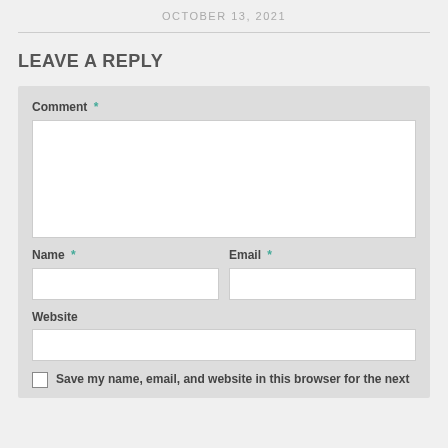OCTOBER 13, 2021
LEAVE A REPLY
Comment *
Name *
Email *
Website
Save my name, email, and website in this browser for the next